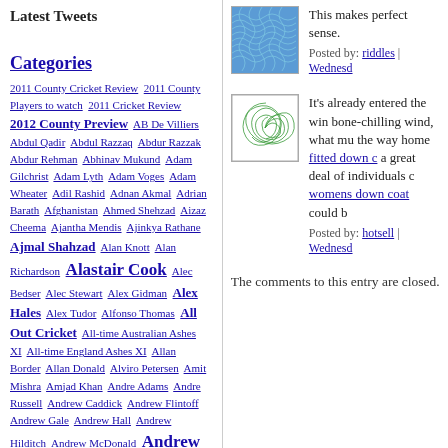Latest Tweets
Categories
2011 County Cricket Review  2011 County Players to watch  2011 Cricket Review  2012 County Preview  AB De Villiers  Abdul Qadir  Abdul Razzaq  Abdur Razzak  Abdur Rehman  Abhinav Mukund  Adam Gilchrist  Adam Lyth  Adam Voges  Adam Wheater  Adil Rashid  Adnan Akmal  Adrian Barath  Afghanistan  Ahmed Shehzad  Aizaz Cheema  Ajantha Mendis  Ajinkya Rathane  Ajmal Shahzad  Alan Knott  Alan Richardson  Alastair Cook  Alec Bedser  Alec Stewart  Alex Gidman  Alex Hales  Alex Tudor  Alfonso Thomas  All Out Cricket  All-time Australian Ashes XI  All-time England Ashes XI  Allan Border  Allan Donald  Alviro Petersen  Amit Mishra  Amjad Khan  Andre Adams  Andre Russell  Andrew Caddick  Andrew Flintoff  Andrew Gale  Andrew Hall  Andrew Hilditch  Andrew McDonald  Andrew Strauss  Andrew Symonds  Andy Flower  Andy Lloyd  Angelo Mathews  Angus Fraser  Anil Kumble  Anthony
[Figure (illustration): Blue geometric wave pattern avatar image]
This makes perfect sense.
Posted by: riddles | Wednesd
[Figure (illustration): Green swirl pattern avatar image]
It's already entered the win bone-chilling wind, what mu the way home fitted down c a great deal of individuals c womens down coat could b
Posted by: hotsell | Wednesd
The comments to this entry are closed.